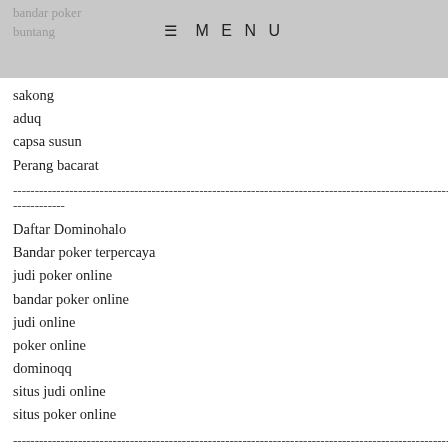bandar poker
buntang
≡ MENU
sakong
aduq
capsa susun
Perang bacarat
--------------------------------------------------------------------------------
------------
Daftar Dominohalo
Bandar poker terpercaya
judi poker online
bandar poker online
judi online
poker online
dominoqq
situs judi online
situs poker online
--------------------------------------------------------------------------------
----------
Daftar twinpoker88
Bandar poker terpercaya
judi online